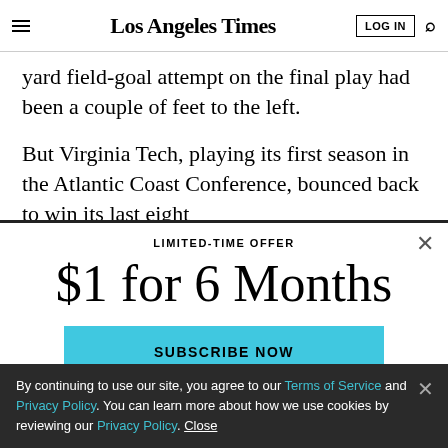Los Angeles Times
yard field-goal attempt on the final play had been a couple of feet to the left.
But Virginia Tech, playing its first season in the Atlantic Coast Conference, bounced back to win its last eight
LIMITED-TIME OFFER
$1 for 6 Months
SUBSCRIBE NOW
By continuing to use our site, you agree to our Terms of Service and Privacy Policy. You can learn more about how we use cookies by reviewing our Privacy Policy. Close